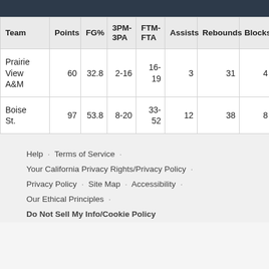| Team | Points | FG% | 3PM-3PA | FTM-FTA | Assists | Rebounds | Blocks | Steals |
| --- | --- | --- | --- | --- | --- | --- | --- | --- |
| Prairie View A&M | 60 | 32.8 | 2-16 | 16-19 | 3 | 31 | 4 | 11 |
| Boise St. | 97 | 53.8 | 8-20 | 33-52 | 12 | 38 | 8 | 7 |
Help · Terms of Service · Your California Privacy Rights/Privacy Policy · Privacy Policy · Site Map · Accessibility · Our Ethical Principles · Do Not Sell My Info/Cookie Policy